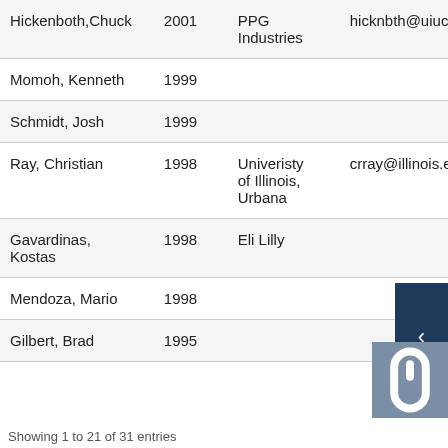| Name | Year | Organization | Email |
| --- | --- | --- | --- |
| Hickenboth, Chuck | 2001 | PPG Industries | hicknbth@uiu... |
| Momoh, Kenneth | 1999 |  |  |
| Schmidt, Josh | 1999 |  |  |
| Ray, Christian | 1998 | Univeristy of Illinois, Urbana | crray@illinois.e... |
| Gavardinas, Kostas | 1998 | Eli Lilly |  |
| Mendoza, Mario | 1998 |  |  |
| Gilbert, Brad | 1995 |  |  |
Showing 1 to 21 of 31 entries